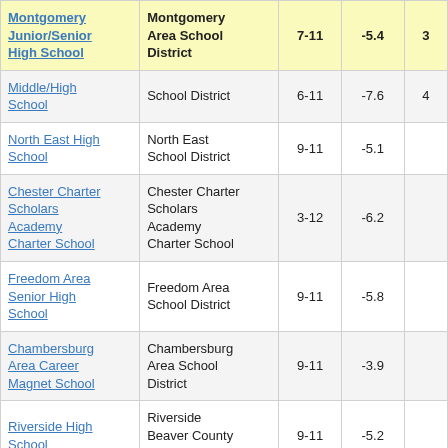| School | District | Grades | Score |  |
| --- | --- | --- | --- | --- |
| Montgomery Junior/Senior High School | Montgomery Area School District | 7-11 | -5.4 | 3 |
| Middle/High School | School District | 6-11 | -7.6 | 4 |
| North East High School | North East School District | 9-11 | -5.1 |  |
| Chester Charter Scholars Academy Charter School | Chester Charter Scholars Academy Charter School | 3-12 | -6.2 |  |
| Freedom Area Senior High School | Freedom Area School District | 9-11 | -5.8 |  |
| Chambersburg Area Career Magnet School | Chambersburg Area School District | 9-11 | -3.9 |  |
| Riverside High School | Riverside Beaver County School District | 9-11 | -5.2 |  |